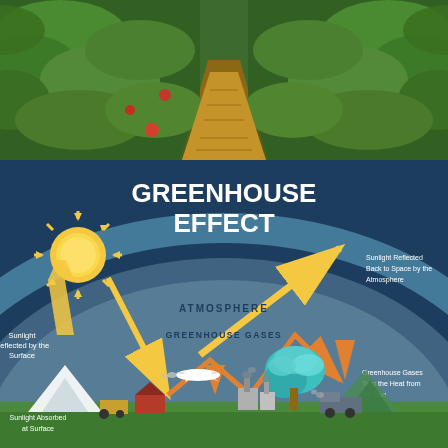[Figure (photo): Photograph of a garden or farm path between rows of green plants and vegetables, with straw mulch on a dirt path, lush green foliage on both sides]
[Figure (infographic): Greenhouse Effect educational infographic on dark blue background. Shows the sun (top left) with arrows illustrating: sunlight reflected by the surface (orange arrow up-left), sunlight reflected back to space by the atmosphere (large orange arrow upper right), atmosphere and greenhouse gases labeled in curved arc bands, greenhouse gases trap the heat from the sun (orange arrow down-right), sunlight absorbed at surface (bottom left label). Ground scene shows mountains, barn, airplane, factory with smokestacks, tree with cloud, and truck. Labels: GREENHOUSE EFFECT (large white bold title), ATMOSPHERE, GREENHOUSE GASES, Sunlight Reflected by the Surface, Sunlight Reflected Back to Space by the Atmosphere, Greenhouse Gases Trap the Heat from the Sun, Sunlight Absorbed at Surface]